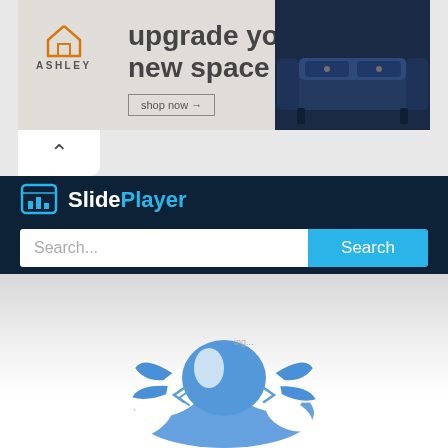[Figure (screenshot): Ashley Furniture advertisement banner: orange house logo, 'ASHLEY' text, 'upgrade your new space' headline, 'shop now →' button, dark navy sofa image on right]
[Figure (screenshot): SlidePlayer website interface: dark navy header with SlidePlayer logo (icon + 'Slide' white + 'Player' blue text), search bar with placeholder 'Search...' and blue 'Search' button]
[Figure (illustration): Partial view of a blue and white 3D scorpion or robotic creature illustration emerging from bottom of page]